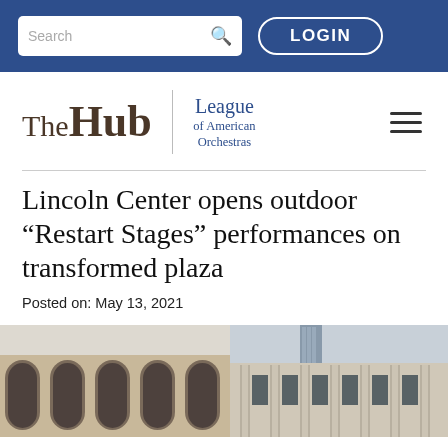Search | LOGIN
[Figure (logo): The Hub | League of American Orchestras logo with hamburger menu]
Lincoln Center opens outdoor “Restart Stages” performances on transformed plaza
Posted on: May 13, 2021
[Figure (photo): Photograph of Lincoln Center buildings exterior showing arched windows on left building and columned facade on right]